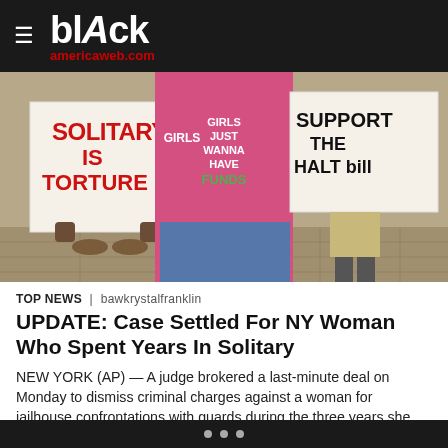blAck americaweb.com
[Figure (photo): Protest photo showing demonstrators holding signs reading 'SOLITARY IS TORTURE' and 'SUPPORT THE HALT bill'. A woman in a pink t-shirt reading 'GIRLS JUST WANNA HAVE FUNDS' stands in the center.]
TOP NEWS | bawkrystalfranklin
UPDATE: Case Settled For NY Woman Who Spent Years In Solitary
NEW YORK (AP) — A judge brokered a last-minute deal on Monday to dismiss criminal charges against a woman for jailhouse confrontations with guards during the three years she spent awaiting trial on Rikers Island, much of it in solitary confinement, before being acquitted by a jury and freed last spring. After just